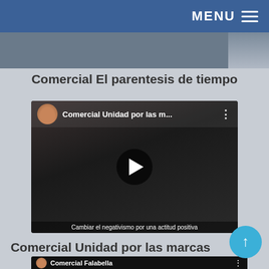MENU
[Figure (screenshot): Top image strip partially visible, cropped view]
Comercial El parentesis de tiempo
[Figure (screenshot): YouTube video thumbnail showing a woman with a red head wrap and text overlay 'Cambiar el negativismo por una actitud positiva'. Video title: Comercial Unidad por las m... with play button]
Comercial Unidad por las marcas
[Figure (screenshot): Bottom video thumbnail strip showing avatar and title Comercial Falabella]